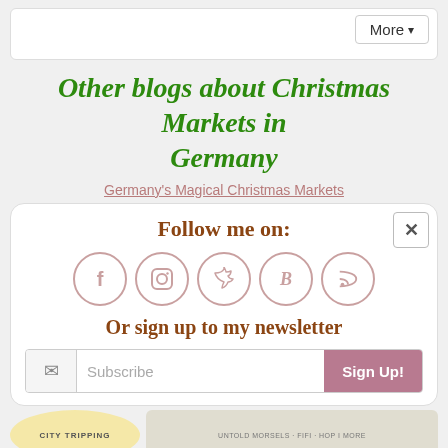More ▾
Other blogs about Christmas Markets in Germany
Germany's Magical Christmas Markets
Follow me on:
[Figure (infographic): Social media icons in circles: Facebook (f), Instagram, Pinterest, Twitter, Bloglovin (B), RSS feed]
Or sign up to my newsletter
Subscribe  Sign Up!
[Figure (logo): City Tripping badge (circular, yellow/cream) and a circular stamp-style badge on the right]